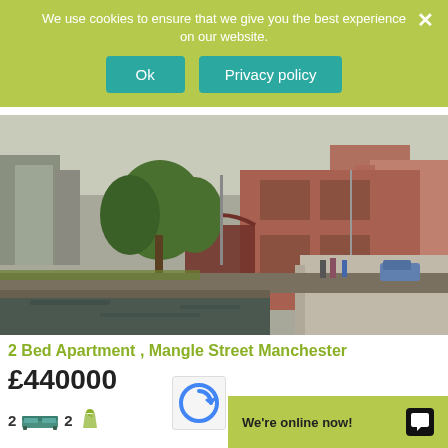We use cookies to ensure that we give you the best experience on our website.
Ok | Privacy policy
[Figure (photo): Canal-side urban scene in Manchester. Brick buildings, trees, a canal with reflections, pedestrians on a footpath, cars on road.]
2 Bed Apartment , Mangle Street Manchester
£440000
We're online now!